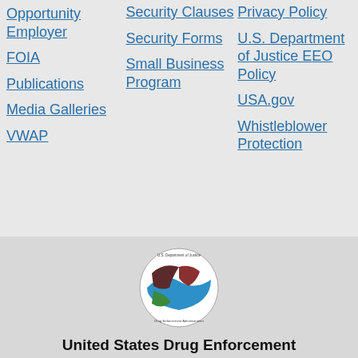Opportunity Employer
FOIA
Publications
Media Galleries
VWAP
Security Clauses
Security Forms
Small Business Program
Privacy Policy
U.S. Department of Justice EEO Policy
USA.gov
Whistleblower Protection
[Figure (logo): U.S. Department of Justice Drug Enforcement Administration circular logo with eagle and shield]
United States Drug Enforcement Administration